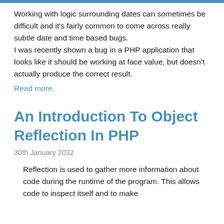Working with logic surrounding dates can sometimes be difficult and it's fairly common to come across really subtle date and time based bugs.
I was recently shown a bug in a PHP application that looks like it should be working at face value, but doesn't actually produce the correct result.
Read more.
An Introduction To Object Reflection In PHP
30th January 2022
Reflection is used to gather more information about code during the runtime of the program. This allows code to inspect itself and to make